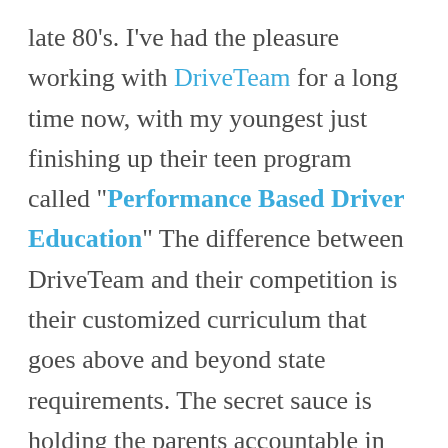late 80's. I've had the pleasure working with DriveTeam for a long time now, with my youngest just finishing up their teen program called "Performance Based Driver Education" The difference between DriveTeam and their competition is their customized curriculum that goes above and beyond state requirements. The secret sauce is holding the parents accountable in their teen's training. DriveTeam requires the parent to spend 100 hours driving with your teen. Think about that